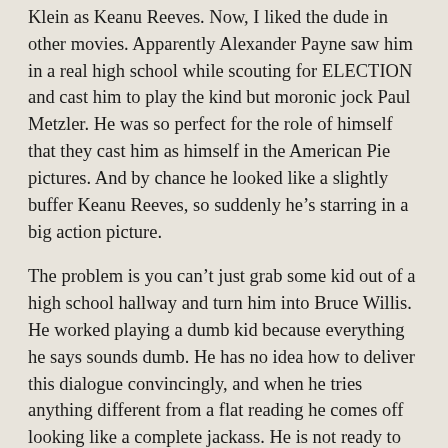Klein as Keanu Reeves. Now, I liked the dude in other movies. Apparently Alexander Payne saw him in a real high school while scouting for ELECTION and cast him to play the kind but moronic jock Paul Metzler. He was so perfect for the role of himself that they cast him as himself in the American Pie pictures. And by chance he looked like a slightly buffer Keanu Reeves, so suddenly he's starring in a big action picture.
The problem is you can't just grab some kid out of a high school hallway and turn him into Bruce Willis. He worked playing a dumb kid because everything he says sounds dumb. He has no idea how to deliver this dialogue convincingly, and when he tries anything different from a flat reading he comes off looking like a complete jackass. He is not ready to play a hero who